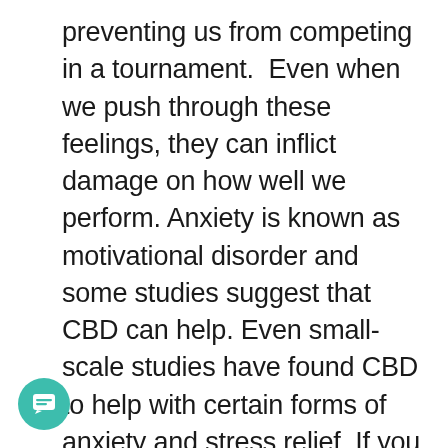preventing us from competing in a tournament.  Even when we push through these feelings, they can inflict damage on how well we perform. Anxiety is known as motivational disorder and some studies suggest that CBD can help. Even small-scale studies have found CBD to help with certain forms of anxiety and stress relief. If you find that pre-competition jitters, anxiety, or nervous about trying having to freeroll for the first time, that can negatively impact your process on belting up, finding the right CBD and correct amount to take is a good idea.